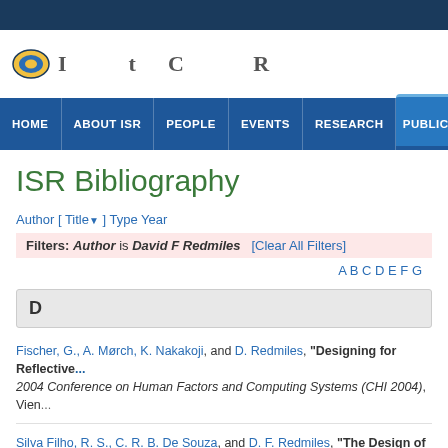ISR website header with navigation: HOME | ABOUT ISR | PEOPLE | EVENTS | RESEARCH | PUBLICATIONS
ISR Bibliography
Author [ Title ] Type Year
Filters: Author is David F Redmiles  [Clear All Filters]
A B C D E F G
D
Fischer, G., A. Mørch, K. Nakakoji, and D. Redmiles, "Designing for Reflective... 2004 Conference on Human Factors and Computing Systems (CHI 2004), Vien...
Silva Filho, R. S., C. R. B. De Souza, and D. F. Redmiles, "The Design of a Co... Distributed Event-Based Systems (DEBS '03) (SIGMOD/PODS 2003), San Dieg...